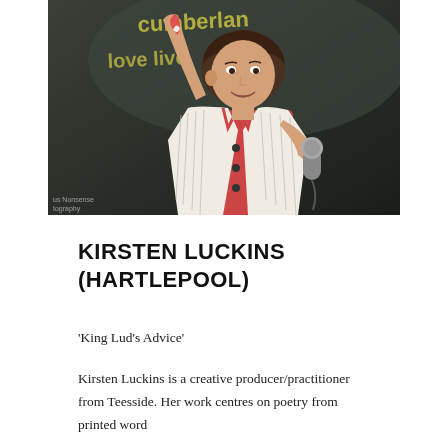[Figure (photo): A young woman performing on stage, raising her left hand, holding a microphone in her right hand, wearing a white pinstripe blazer with red trim over a red top. Background shows a dark stage with text 'Cumberland' and 'love live' visible. Small watermark text at bottom left reads 'us Nonsense' and 'tography'.]
KIRSTEN LUCKINS (HARTLEPOOL)
'King Lud's Advice'
Kirsten Luckins is a creative producer/practitioner from Teesside. Her work centres on poetry from printed word